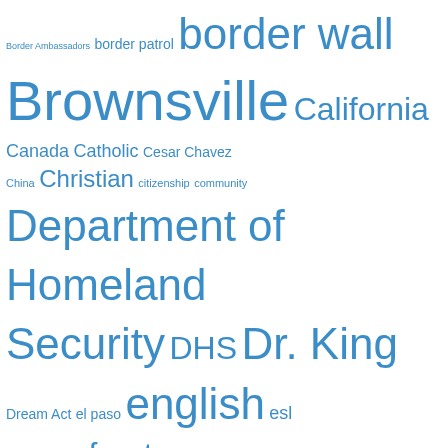[Figure (infographic): Word cloud of immigration and border-related terms in various blue font sizes. Terms include: Border Ambassadors, border patrol, border wall, Brownsville, California, Canada, Catholic, Cesar Chavez, China, Christian, citizenship, community, Department of Homeland Security, DHS, Dr. King, Dream Act, el paso, english, esl, extralegal, frontera, globalization, God, Hidalgo County, homeland security, ICE, illegal, immigrant, immigrants, immigration, immigration reform, Iowa, Jr., Latino, March Against the Wall, Martin Luther King, Matamoros, Mexican, Mexico, Michael Chertoff, Minnesota, MLK, muro, nativism, new york, New York Times, No Border Wall Walk, nonviolence, Obama, Postville, REAL ID Act]